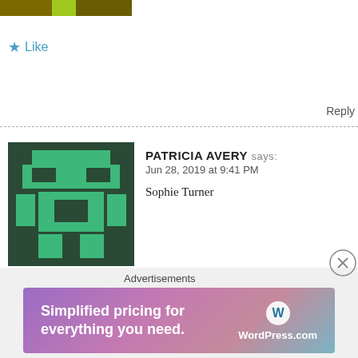[Figure (illustration): Pixel art avatar strip at top showing parts of colored blocks (olive, lime, olive)]
★ Like
Reply
[Figure (illustration): Pixel art avatar for PATRICIA AVERY, green/dark green robot-like figure]
PATRICIA AVERY says:
Jun 28, 2019 at 9:41 PM
Sophie Turner
★ Like
Reply
[Figure (illustration): Pixel art avatar for PIPERANDDAISY, green/dark green robot-like figure]
PIPERANDDAISY says:
Jun 28, 2019 at 9:41 PM
Sophie Turner
★ Like
Advertisements
[Figure (infographic): WordPress.com advertisement banner: Simplified pricing for everything you need.]